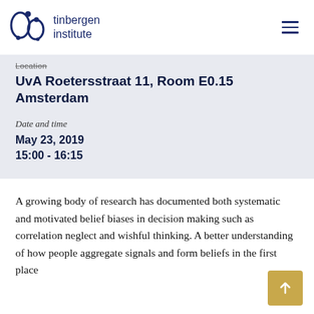tinbergen institute
Location
UvA Roetersstraat 11, Room E0.15 Amsterdam
Date and time
May 23, 2019
15:00 - 16:15
A growing body of research has documented both systematic and motivated belief biases in decision making such as correlation neglect and wishful thinking. A better understanding of how people aggregate signals and form beliefs in the first place